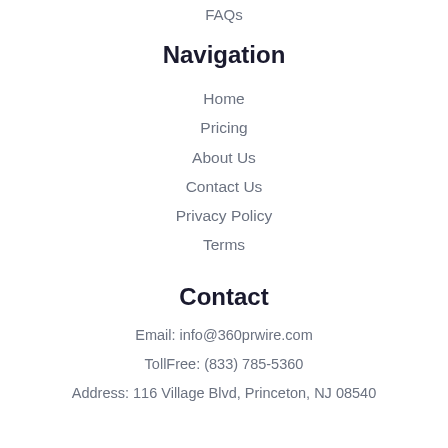FAQs
Navigation
Home
Pricing
About Us
Contact Us
Privacy Policy
Terms
Contact
Email: info@360prwire.com
TollFree: (833) 785-5360
Address: 116 Village Blvd, Princeton, NJ 08540